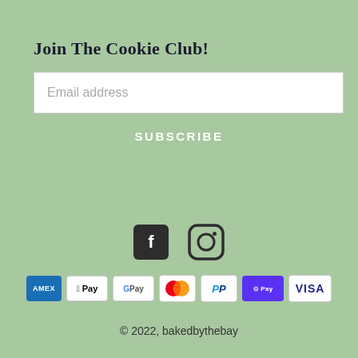Join The Cookie Club!
Email address
SUBSCRIBE
[Figure (logo): Facebook and Instagram social media icons]
[Figure (infographic): Payment method icons: American Express, Apple Pay, Google Pay, Mastercard, PayPal, Shop Pay, Visa]
© 2022, bakedbythebay